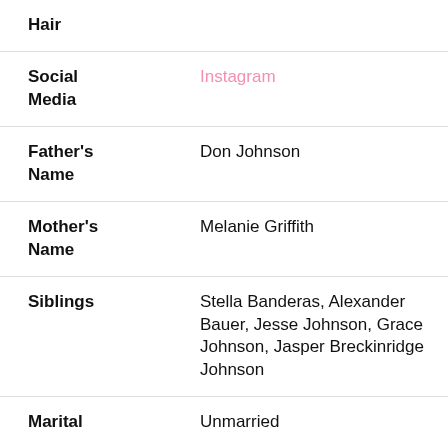| Field | Value |
| --- | --- |
| Hair |  |
| Social Media | Instagram |
| Father's Name | Don Johnson |
| Mother's Name | Melanie Griffith |
| Siblings | Stella Banderas, Alexander Bauer, Jesse Johnson, Grace Johnson, Jasper Breckinridge Johnson |
| Marital | Unmarried |